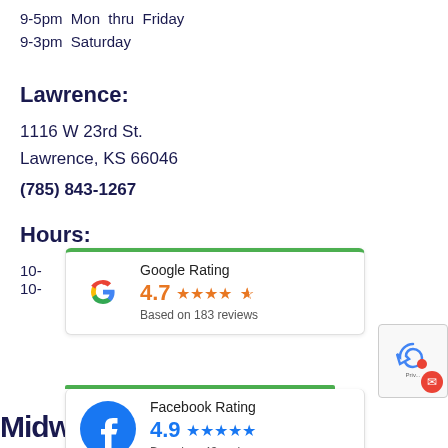9-5pm Mon thru Friday
9-3pm Saturday
Lawrence:
1116 W 23rd St.
Lawrence, KS 66046
(785) 843-1267
Hours:
10-... (partially hidden)
10-... (partially hidden) ...rday
[Figure (infographic): Google Rating card: 4.7 stars, Based on 183 reviews]
[Figure (infographic): Facebook Rating card: 4.9 stars, Based on 43 reviews]
[Figure (logo): Midwest SPY'S logo at bottom]